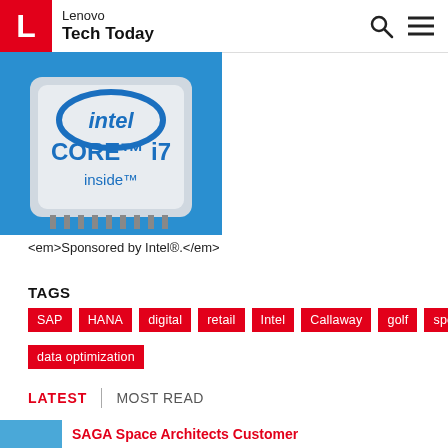Lenovo Tech Today
[Figure (photo): Intel Core i7 inside processor chip image on blue background]
<em>Sponsored by Intel®.</em>
TAGS
SAP
HANA
digital
retail
Intel
Callaway
golf
sport
data optimization
LATEST | MOST READ
SAGA Space Architects Customer